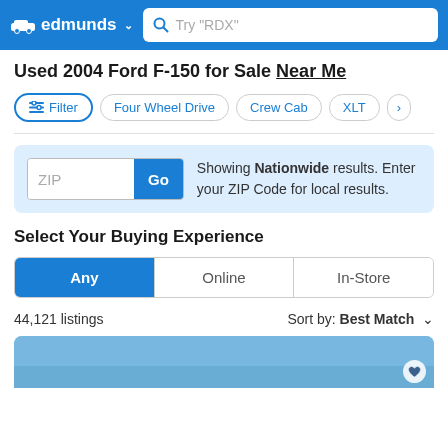edmunds — Search bar: Try "RDX"
Used 2004 Ford F-150 for Sale Near Me
Filter | Four Wheel Drive | Crew Cab | XLT | >
ZIP Go — Showing Nationwide results. Enter your ZIP Code for local results.
Select Your Buying Experience
Any | Online | In-Store
44,121 listings   Sort by: Best Match
[Figure (photo): Partial view of a car listing photo with blue sky background and heart/save icon]